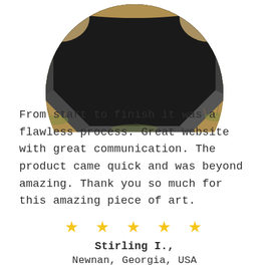[Figure (photo): Circular cropped photo showing a close-up of a dark granite or stone memorial/monument with beveled edges, sitting on grass and dry soil, viewed from above at an angle.]
From start to finish it was a flawless process. Great website with great communication. The product came quick and was beyond amazing. Thank you so much for this amazing piece of art.
★★★★★
Stirling I., Newnan, Georgia, USA